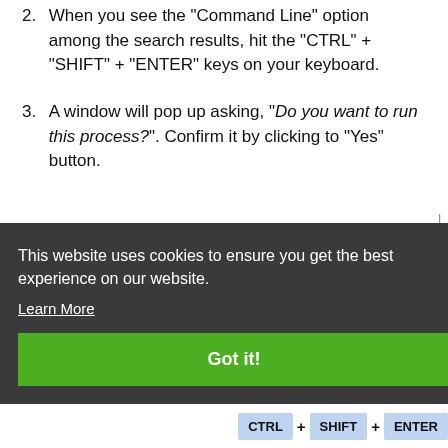2. When you see the "Command Line" option among the search results, hit the "CTRL" + "SHIFT" + "ENTER" keys on your keyboard.
3. A window will pop up asking, "Do you want to run this process?". Confirm it by clicking to "Yes" button.
This website uses cookies to ensure you get the best experience on our website. Learn More
Got it!
[Figure (screenshot): Bottom keyboard shortcut bar showing CTRL + SHIFT + ENTER keys as blue key boxes]